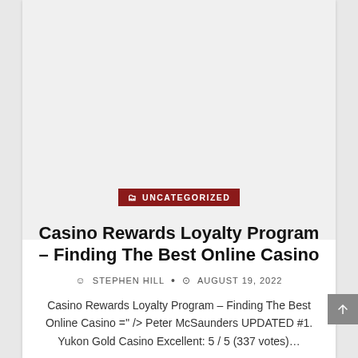[Figure (other): Large light gray placeholder area at top of card]
UNCATEGORIZED
Casino Rewards Loyalty Program – Finding The Best Online Casino
STEPHEN HILL • AUGUST 19, 2022
Casino Rewards Loyalty Program – Finding The Best Online Casino ='' /> Peter McSaunders UPDATED #1. Yukon Gold Casino Excellent: 5 / 5 (337 votes)...